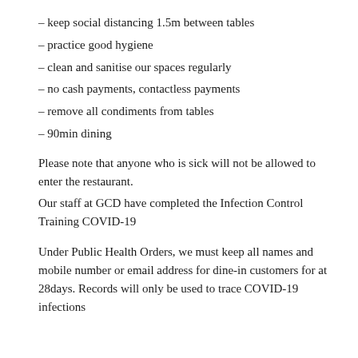– keep social distancing 1.5m between tables
– practice good hygiene
– clean and sanitise our spaces regularly
– no cash payments, contactless payments
– remove all condiments from tables
– 90min dining
Please note that anyone who is sick will not be allowed to enter the restaurant.
Our staff at GCD have completed the Infection Control Training COVID-19
Under Public Health Orders, we must keep all names and mobile number or email address for dine-in customers for at 28days. Records will only be used to trace COVID-19 infections